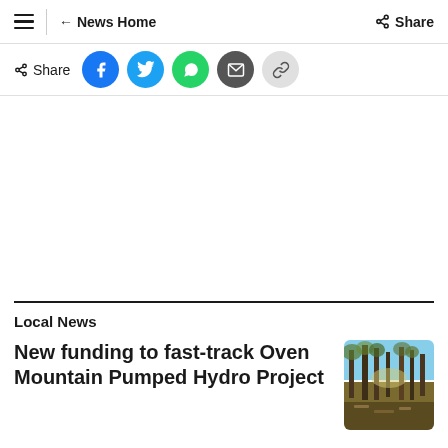≡  ← News Home   < Share
< Share
[Figure (screenshot): Social share buttons: Facebook (blue), Twitter (light blue), WhatsApp (green), Email (dark grey), Link (light grey)]
Local News
New funding to fast-track Oven Mountain Pumped Hydro Project
[Figure (photo): Forest/woodland scene with trees and clearing, outdoor landscape photo]